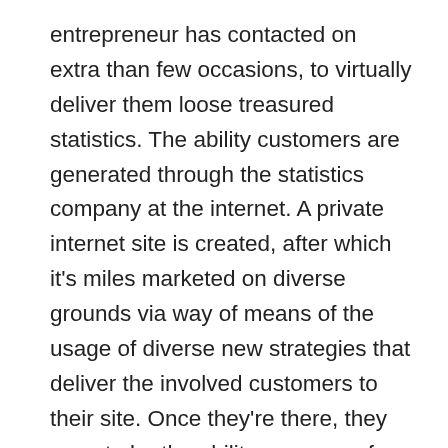entrepreneur has contacted on extra than few occasions, to virtually deliver them loose treasured statistics. The ability customers are generated through the statistics company at the internet. A private internet site is created, after which it's miles marketed on diverse grounds via way of means of the usage of diverse new strategies that deliver the involved customers to their site. Once they're there, they grow to be the ability consumer for the company. The Internet Marketer. Most of the goods are virtual. This manner they're in a shape of video, MP3s, and E-books. These are fundamental merchandise and the profits sales from those merchandise aren't so demanding. For a newbie as an Internet marketer, this access is appropriate for his or her development. However you could promote bodily merchandise at the internet Marketing...